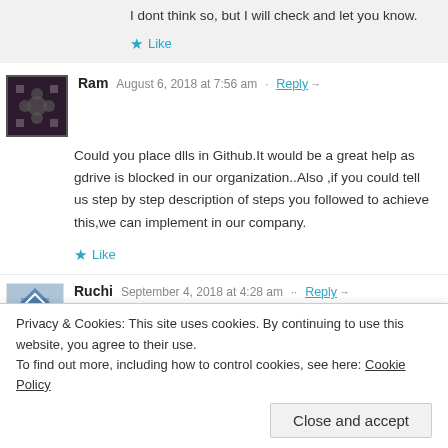I dont think so, but I will check and let you know.
Like
Ram  August 6, 2018 at 7:56 am  Reply
Could you place dlls in Github.It would be a great help as gdrive is blocked in our organization..Also ,if you could tell us step by step description of steps you followed to achieve this,we can implement in our company.
Like
Ruchi  September 4, 2018 at 4:28 am  Reply
Privacy & Cookies: This site uses cookies. By continuing to use this website, you agree to their use.
To find out more, including how to control cookies, see here: Cookie Policy
Close and accept